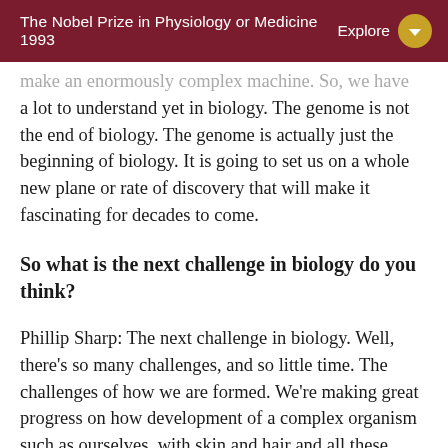The Nobel Prize in Physiology or Medicine 1993  Explore
make an enormously complex machine. So, we have a lot to understand yet in biology. The genome is not the end of biology. The genome is actually just the beginning of biology. It is going to set us on a whole new plane or rate of discovery that will make it fascinating for decades to come.
So what is the next challenge in biology do you think?
Phillip Sharp: The next challenge in biology. Well, there's so many challenges, and so little time. The challenges of how we are formed. We're making great progress on how development of a complex organism such as ourselves, with skin and hair and all these other different tissues develop from the 35,000 genes. We're going to understand that and